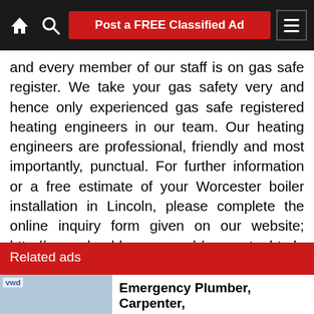Post a FREE Classified Ad
and every member of our staff is on gas safe register. We take your gas safety very and hence only experienced gas safe registered heating engineers in our team. Our heating engineers are professional, friendly and most importantly, punctual. For further information or a free estimate of your Worcester boiler installation in Lincoln, please complete the online inquiry form given on our website; http://www.clearbluegas.co.uk/worcester.html
Related ads
Emergency Plumber, Carpenter,